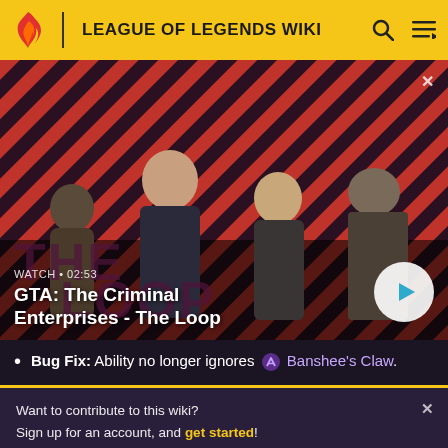LEAGUE OF LEGENDS WIKI
[Figure (screenshot): Video thumbnail for 'GTA: The Criminal Enterprises - The Loop' showing four game characters on a red diagonal striped background. Shows 'WATCH • 02:53' label and a white play button circle on the right.]
Bug Fix: Ability no longer ignores Banshee's Claw.
Want to contribute to this wiki? Sign up for an account, and get started! You can even turn off ads in your preferences.